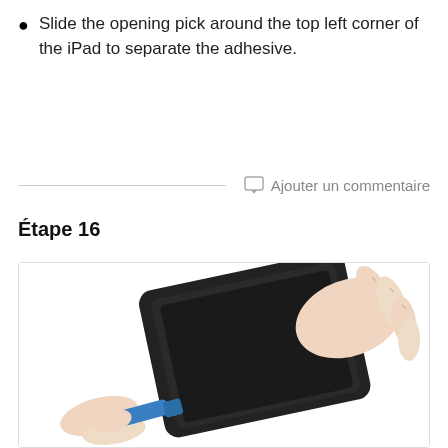Slide the opening pick around the top left corner of the iPad to separate the adhesive.
Ajouter un commentaire
Étape 16
[Figure (photo): Hands holding an iPad while using a blue opening pick/tool to separate the screen adhesive around the top left corner of the device.]